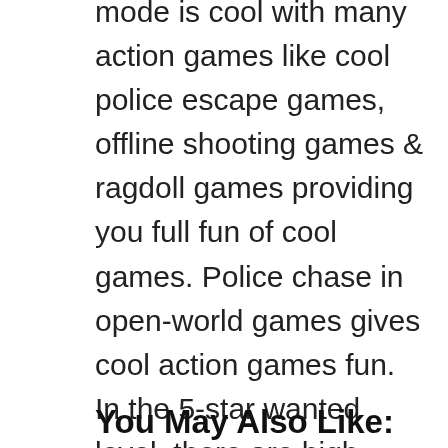mode is cool with many action games like cool police escape games, offline shooting games & ragdoll games providing you full fun of cool games. Police chase in open-world games gives cool action games fun. In the 5-star wanted level, there are high-action games where you try to escape the police in a cool open-world games map. Offline games mode has so many action games like fast taxi driving games & bowling games, ragdoll games & basketball games. You can explore these sports action games on the cool open-world map. Dude Theft Wars is one of the best ragdoll games. If you love action games, Dude Theft Wars provides you with the best open-world games & online multiplayer games.
You May Also Like: